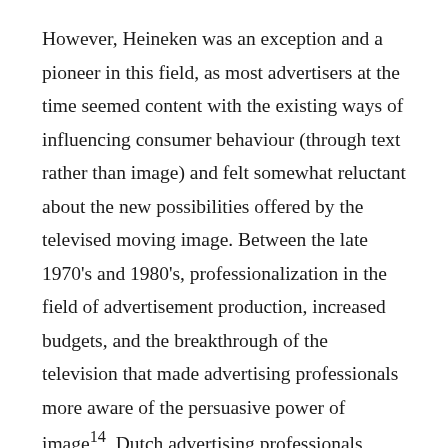However, Heineken was an exception and a pioneer in this field, as most advertisers at the time seemed content with the existing ways of influencing consumer behaviour (through text rather than image) and felt somewhat reluctant about the new possibilities offered by the televised moving image. Between the late 1970's and 1980's, professionalization in the field of advertisement production, increased budgets, and the breakthrough of the television that made advertising professionals more aware of the persuasive power of image14, Dutch advertising professionals gradually succeeded in mastering the medium and learned how to produce advertisements that were both attractive and effective. Over the course of those two decades, advertising